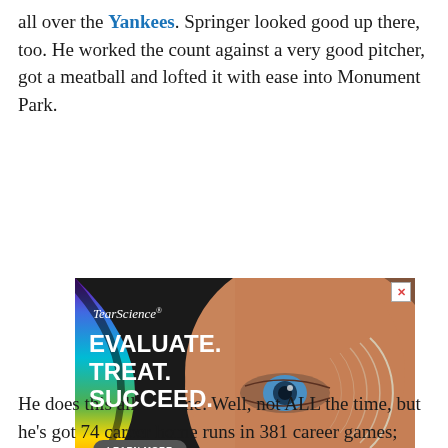all over the Yankees. Springer looked good up there, too. He worked the count against a very good pitcher, got a meatball and lofted it with ease into Monument Park.
[Figure (photo): TearScience advertisement showing a close-up of a human eye with text 'EVALUATE. TREAT. SUCCEED.' and a 'LEARN MORE' button. Includes 'Important Safety Information' link and disclaimer 'Not actual patient. PP2020TS4019'.]
He does this all the time. Well, not ALL the time, but he's got 74 career home runs in 381 career games;